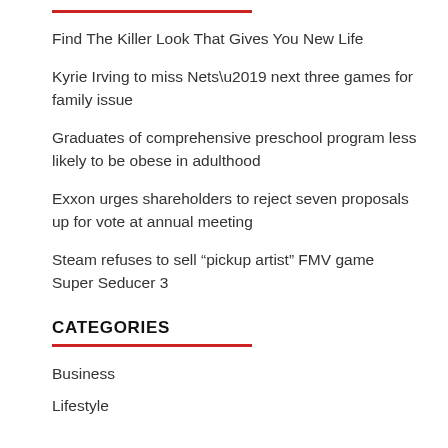Find The Killer Look That Gives You New Life
Kyrie Irving to miss Nets’ next three games for family issue
Graduates of comprehensive preschool program less likely to be obese in adulthood
Exxon urges shareholders to reject seven proposals up for vote at annual meeting
Steam refuses to sell “pickup artist” FMV game Super Seducer 3
CATEGORIES
Business
Lifestyle